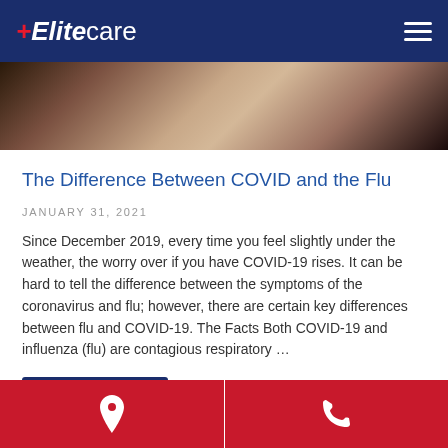Elitecare
[Figure (photo): Close-up photo of a person touching their neck/throat area, suggesting illness symptoms]
The Difference Between COVID and the Flu
JANUARY 31, 2021
Since December 2019, every time you feel slightly under the weather, the worry over if you have COVID-19 rises. It can be hard to tell the difference between the symptoms of the coronavirus and flu; however, there are certain key differences between flu and COVID-19. The Facts Both COVID-19 and influenza (flu) are contagious respiratory ...
Read more
Location | Phone